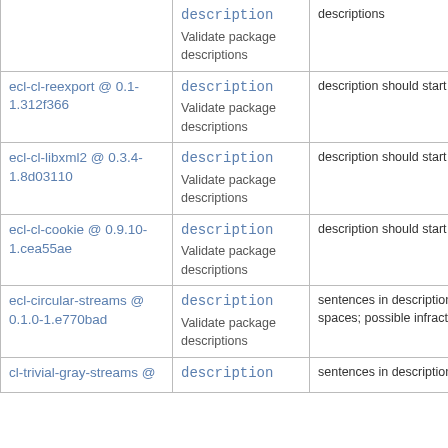| Package | Check | Message |
| --- | --- | --- |
|  | description
Validate package descriptions | descriptions |
| ecl-cl-reexport @ 0.1-1.312f366 | description
Validate package descriptions | description should start digit |
| ecl-cl-libxml2 @ 0.3.4-1.8d03110 | description
Validate package descriptions | description should start digit |
| ecl-cl-cookie @ 0.9.10-1.cea55ae | description
Validate package descriptions | description should start digit |
| ecl-circular-streams @ 0.1.0-1.e770bad | description
Validate package descriptions | sentences in description spaces; possible infract |
| cl-trivial-gray-streams @ | description | sentences in description |